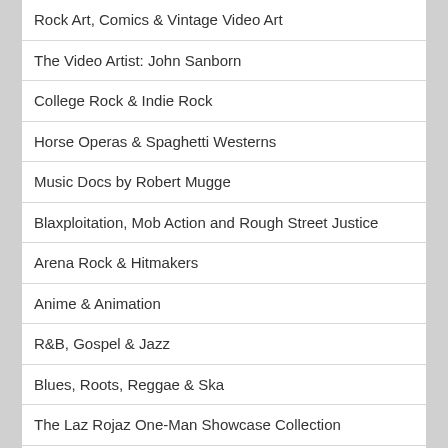Rock Art, Comics & Vintage Video Art
The Video Artist: John Sanborn
College Rock & Indie Rock
Horse Operas & Spaghetti Westerns
Music Docs by Robert Mugge
Blaxploitation, Mob Action and Rough Street Justice
Arena Rock & Hitmakers
Anime & Animation
R&B, Gospel & Jazz
Blues, Roots, Reggae & Ska
The Laz Rojaz One-Man Showcase Collection
Comedy Movies & Stand-Up Comics